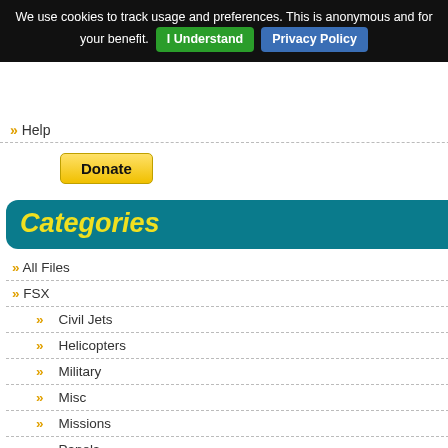We use cookies to track usage and preferences. This is anonymous and for your benefit. [I Understand] [Privacy Policy]
» Help
[Figure (other): PayPal Donate button]
Categories
» All Files
» FSX
» Civil Jets
» Helicopters
» Military
» Misc
» Missions
» Panels
» Payware
» Props
is the Airport Freq. The Fre...
Posted Apr 1,
[Figure (screenshot): Aerial screenshot of CYYB - North Bay airport in flight simulator]
CYYB - North...
Zip file preview 0.39Mb (1732...
Welcome to J... from the dow... served by sev... Ottawa. This ... and other No... Transport Ca... foot runway is...
Posted Apr 1,
[Figure (screenshot): Aerial screenshot of Gainesville FL airport in flight simulator]
Gainesville Fl...
Zip file preview 1.00Mb (1675...
Complete re... surrounding b... aprons and ... buildings. The...